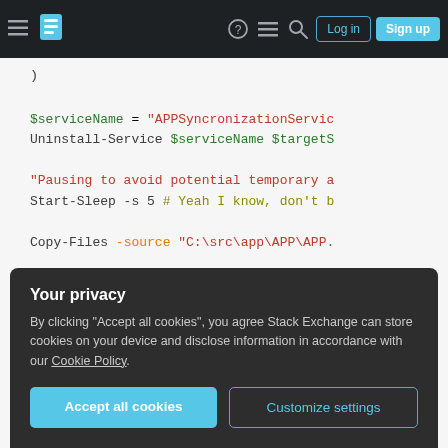Stack Exchange navigation bar with Log in and Sign up buttons
Code block showing PowerShell script with $serviceName, Uninstall-Service, Pausing to avoid potential temporary, Start-Sleep -s 5, Copy-Files -source, Install-Service, -ServiceName, -TargetServer, -DisplayName, -PhysicalPath
Your privacy
By clicking "Accept all cookies", you agree Stack Exchange can store cookies on your device and disclose information in accordance with our Cookie Policy.
Accept all cookies | Customize settings